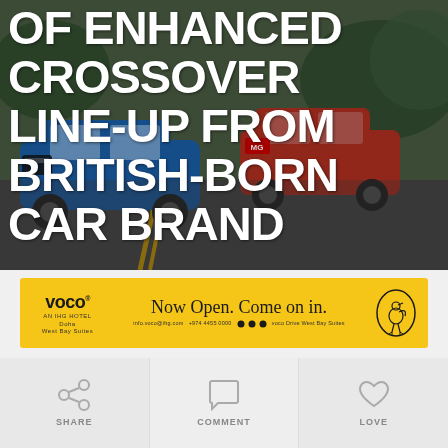[Figure (photo): Photo of multiple MG crossover SUVs driving on a road, including a blue and a red vehicle. Blurred motion background with trees.]
OF ENHANCED CROSSOVER LINE-UP FROM BRITISH-BORN CAR BRAND
[Figure (other): Advertisement banner for voco IHG hotel, Doha West Bay Suites. Yellow background with text: Now Open. Come on in. Contact: info.voco@ihg.com +974 4455 0000. Social media icons. voco Drive West Bay Suites. Bird logo on right.]
[Figure (other): Bottom action bar with three sections: SHARE (share icon), COMMENT (speech bubble icon), LOVE (heart icon)]